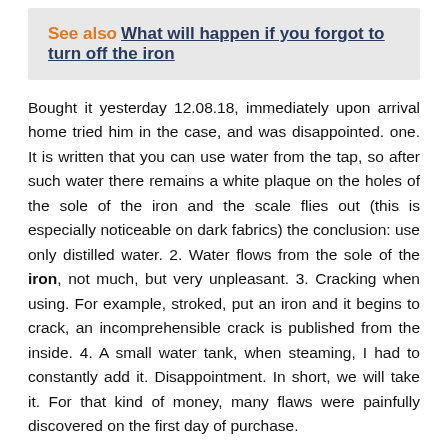See also  What will happen if you forgot to turn off the iron
Bought it yesterday 12.08.18, immediately upon arrival home tried him in the case, and was disappointed. one. It is written that you can use water from the tap, so after such water there remains a white plaque on the holes of the sole of the iron and the scale flies out (this is especially noticeable on dark fabrics) the conclusion: use only distilled water. 2. Water flows from the sole of the iron, not much, but very unpleasant. 3. Cracking when using. For example, stroked, put an iron and it begins to crack, an incomprehensible crack is published from the inside. 4. A small water tank, when steaming, I had to constantly add it. Disappointment. In short, we will take it. For that kind of money, many flaws were painfully discovered on the first day of purchase.